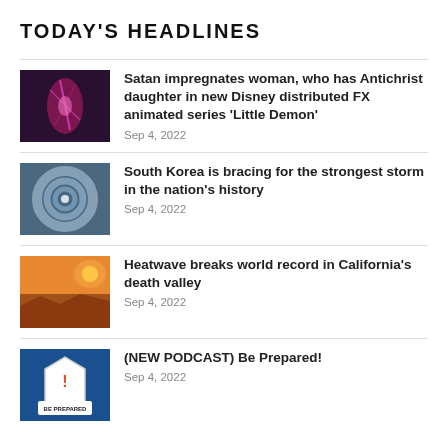TODAY'S HEADLINES
Satan impregnates woman, who has Antichrist daughter in new Disney distributed FX animated series ‘Little Demon’ — Sep 4, 2022
South Korea is bracing for the strongest storm in the nation’s history — Sep 4, 2022
Heatwave breaks world record in California’s death valley — Sep 4, 2022
(NEW PODCAST) Be Prepared! — Sep 4, 2022